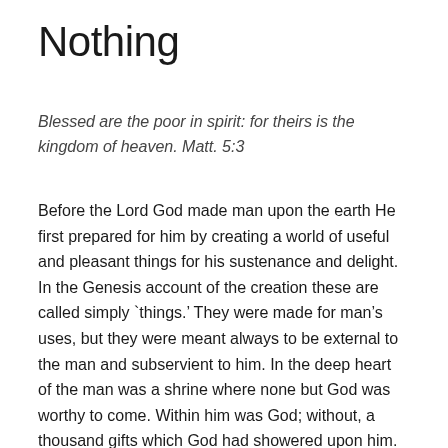Nothing
Blessed are the poor in spirit: for theirs is the kingdom of heaven. Matt. 5:3
Before the Lord God made man upon the earth He first prepared for him by creating a world of useful and pleasant things for his sustenance and delight. In the Genesis account of the creation these are called simply 'things.' They were made for man's uses, but they were meant always to be external to the man and subservient to him. In the deep heart of the man was a shrine where none but God was worthy to come. Within him was God; without, a thousand gifts which God had showered upon him.